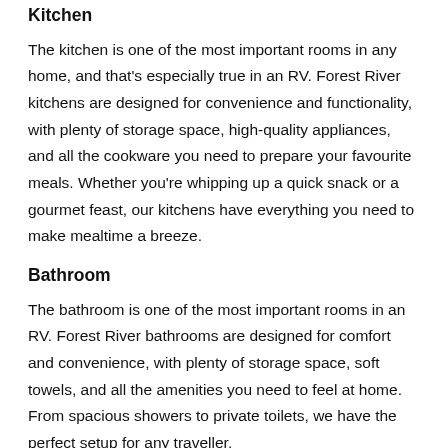Kitchen
The kitchen is one of the most important rooms in any home, and that's especially true in an RV. Forest River kitchens are designed for convenience and functionality, with plenty of storage space, high-quality appliances, and all the cookware you need to prepare your favourite meals. Whether you're whipping up a quick snack or a gourmet feast, our kitchens have everything you need to make mealtime a breeze.
Bathroom
The bathroom is one of the most important rooms in an RV. Forest River bathrooms are designed for comfort and convenience, with plenty of storage space, soft towels, and all the amenities you need to feel at home. From spacious showers to private toilets, we have the perfect setup for any traveller.